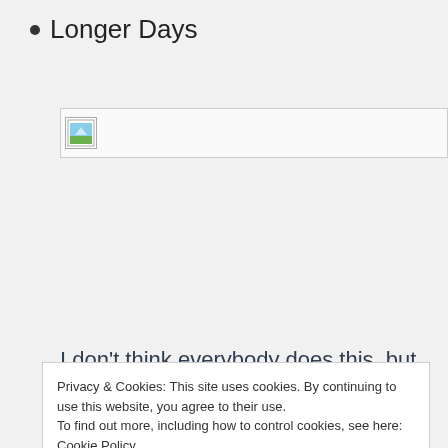Longer Days
[Figure (photo): Broken/unloaded image placeholder with small broken image icon in top-left corner]
I don't think everybody does this, but New Zealand
Privacy & Cookies: This site uses cookies. By continuing to use this website, you agree to their use.
To find out more, including how to control cookies, see here: Cookie Policy
Close and accept
more light for longer!